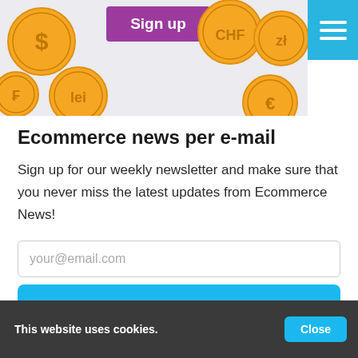[Figure (illustration): Top banner with orange currency coins (labeled $, lei, CHF, zl, €) and a purple Sign up button on a light grey background]
Ecommerce news per e-mail
Sign up for our weekly newsletter and make sure that you never miss the latest updates from Ecommerce News!
your@email.com
Stay up to date
This website uses cookies.
Close